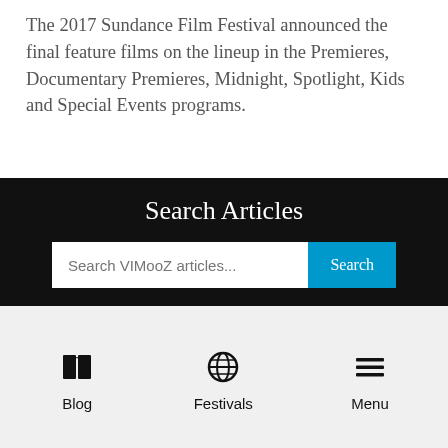The 2017 Sundance Film Festival announced the final feature films on the lineup in the Premieres, Documentary Premieres, Midnight, Spotlight, Kids and Special Events programs.
Search Articles
Search VIMooZ articles...
Blog  Festivals  Menu